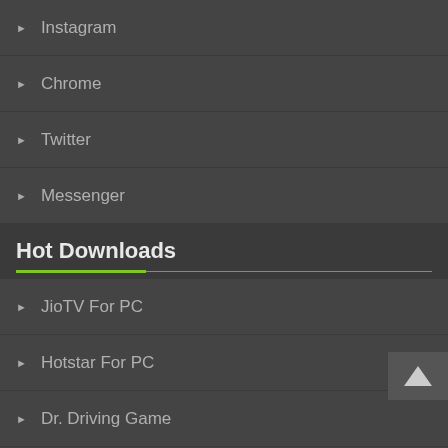Instagram
Chrome
Twitter
Messenger
Hot Downloads
JioTV For PC
Hotstar For PC
Dr. Driving Game
ESPN App
UC Browser Mini
My Talking Tom
Mp3 Player